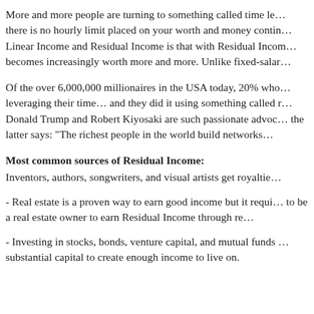More and more people are turning to something called time le... there is no hourly limit placed on your worth and money contin... Linear Income and Residual Income is that with Residual Incom... becomes increasingly worth more and more. Unlike fixed-salar...
Of the over 6,000,000 millionaires in the USA today, 20% who... leveraging their time... and they did it using something called r... Donald Trump and Robert Kiyosaki are such passionate advoc... the latter says: “The richest people in the world build networks...
Most common sources of Residual Income:
Inventors, authors, songwriters, and visual artists get royaltie...
- Real estate is a proven way to earn good income but it requi... to be a real estate owner to earn Residual Income through re...
- Investing in stocks, bonds, venture capital, and mutual funds ... substantial capital to create enough income to live on.